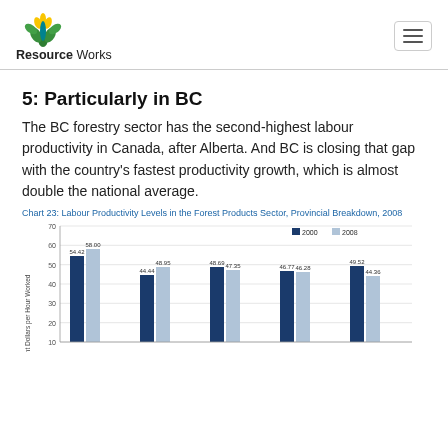Resource Works
5: Particularly in BC
The BC forestry sector has the second-highest labour productivity in Canada, after Alberta. And BC is closing that gap with the country's fastest productivity growth, which is almost double the national average.
Chart 23: Labour Productivity Levels in the Forest Products Sector, Provincial Breakdown, 2008
[Figure (grouped-bar-chart): Labour Productivity Levels in the Forest Products Sector, Provincial Breakdown, 2008]